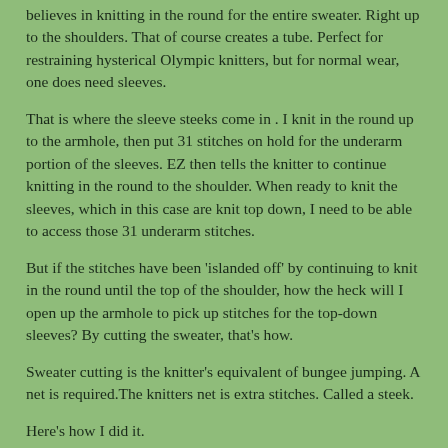believes in knitting in the round for the entire sweater. Right up to the shoulders. That of course creates a tube. Perfect for restraining hysterical Olympic knitters, but for normal wear, one does need sleeves.
That is where the sleeve steeks come in . I knit in the round up to the armhole, then put 31 stitches on hold for the underarm portion of the sleeves. EZ then tells the knitter to continue knitting in the round to the shoulder. When ready to knit the sleeves, which in this case are knit top down, I need to be able to access those 31 underarm stitches.
But if the stitches have been 'islanded off' by continuing to knit in the round until the top of the shoulder, how the heck will I open up the armhole to pick up stitches for the top-down sleeves? By cutting the sweater, that's how.
Sweater cutting is the knitter's equivalent of bungee jumping. A net is required.The knitters net is extra stitches. Called a steek.
Here's how I did it.